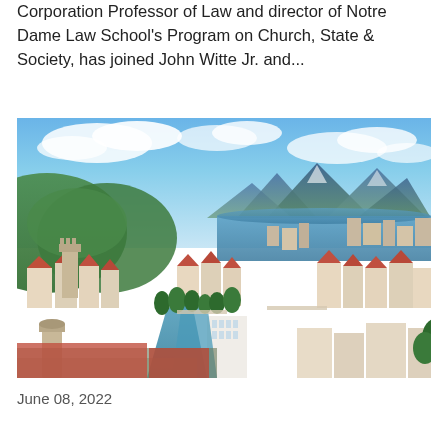Corporation Professor of Law and director of Notre Dame Law School's Program on Church, State & Society, has joined John Witte Jr. and...
[Figure (photo): Aerial panoramic view of a European city (Lucerne, Switzerland) showing a river running through the city center, red-roofed historic buildings, green hills, a lake, and mountains in the background under a partly cloudy blue sky.]
June 08, 2022